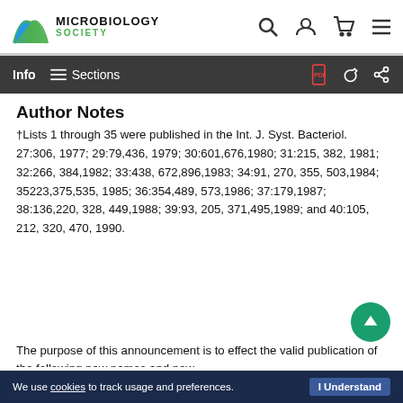MICROBIOLOGY SOCIETY
Author Notes
†Lists 1 through 35 were published in the Int. J. Syst. Bacteriol. 27:306, 1977; 29:79,436, 1979; 30:601,676,1980; 31:215, 382, 1981; 32:266, 384,1982; 33:438, 672,896,1983; 34:91, 270, 355, 503,1984; 35223,375,535, 1985; 36:354,489, 573,1986; 37:179,1987; 38:136,220, 328, 449,1988; 39:93, 205, 371,495,1989; and 40:105, 212, 320, 470, 1990.
The purpose of this announcement is to effect the valid publication of the following new names and new
We use cookies to track usage and preferences. I Understand